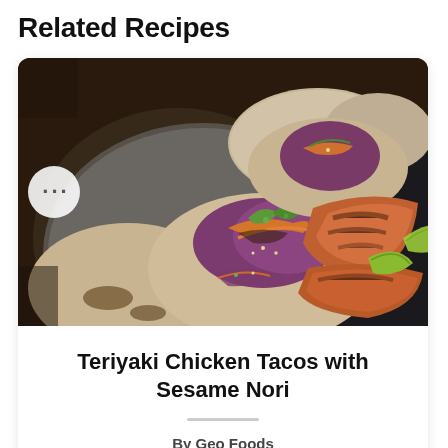Related Recipes
[Figure (photo): Food photograph showing teriyaki chicken tacos with sesame nori, featuring purple cabbage slaw, green onions, shredded carrots, tortillas, lime wedges, and grilled chicken pieces on a dark background]
Teriyaki Chicken Tacos with Sesame Nori
By Geo Foods